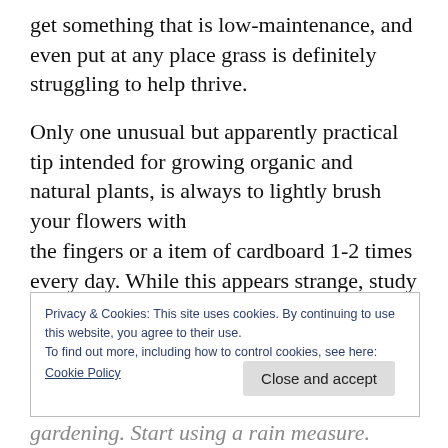get something that is low-maintenance, and even put at any place grass is definitely struggling to help thrive.
Only one unusual but apparently practical tip intended for growing organic and natural plants, is always to lightly brush your flowers with the fingers or a item of cardboard 1-2 times every day. While this appears strange, study shows it can help plants expand bigger, versus
Privacy & Cookies: This site uses cookies. By continuing to use this website, you agree to their use.
To find out more, including how to control cookies, see here:
Cookie Policy
gardening. Start using a rain measure.